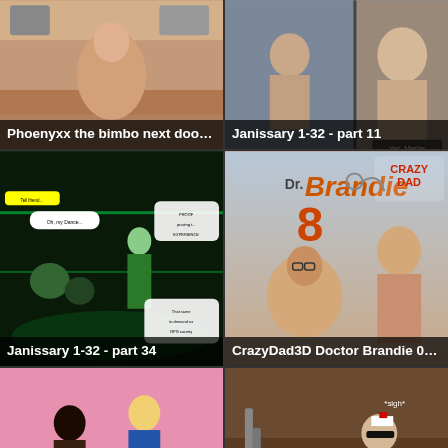[Figure (illustration): 3D rendered comic scene - kitchen/bedroom setting with animated character, title overlay at bottom]
Phoenyxx the bimbo next door - ...
[Figure (illustration): 3D rendered comic scene - two panel view with characters in intimate scene, title overlay at bottom]
Janissary 1-32 - part 11
[Figure (illustration): 3D rendered comic scene - sci-fi dark club setting with green lighting and characters with speech bubbles]
Janissary 1-32 - part 34
[Figure (illustration): 3D rendered comic cover - Doctor Brandie 8 by CrazyDad3D showing characters with medical theme]
CrazyDad3D Doctor Brandie 08...
[Figure (illustration): 3D rendered scene with characters standing in pink room]
[Figure (illustration): 3D rendered scene with nurse character and UP badge overlay, text 'Time to check' and '*sigh*' visible]